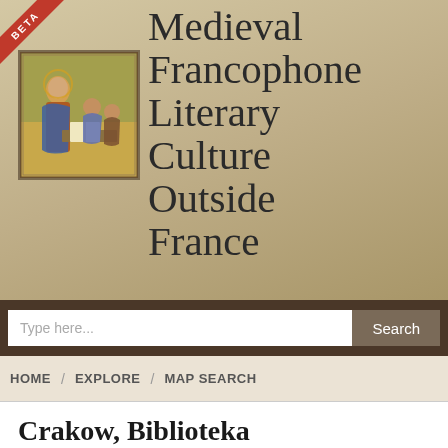[Figure (illustration): Medieval manuscript illumination showing robed figures (scholars) studying around a table with an open book, gold and blue tones]
Medieval Francophone Literary Culture Outside France
Type here...
Search
HOME / EXPLORE / MAP SEARCH
Crakow, Biblioteka